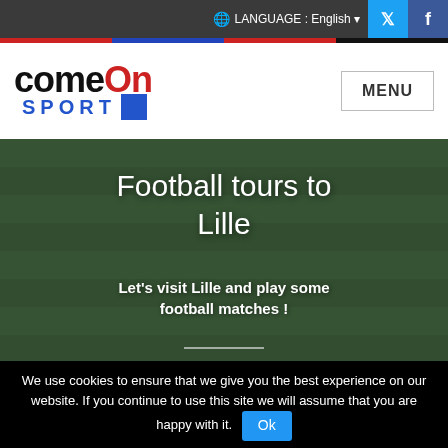LANGUAGE : English
[Figure (logo): ComeOn Sport logo with red 'On' and blue 'SPORT' text and blue square]
MENU
Football tours to Lille
Let's visit Lille and play some football matches !
We use cookies to ensure that we give you the best experience on our website. If you continue to use this site we will assume that you are happy with it. Ok